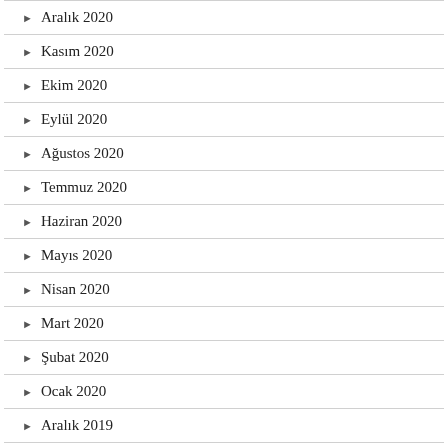Aralık 2020
Kasım 2020
Ekim 2020
Eylül 2020
Ağustos 2020
Temmuz 2020
Haziran 2020
Mayıs 2020
Nisan 2020
Mart 2020
Şubat 2020
Ocak 2020
Aralık 2019